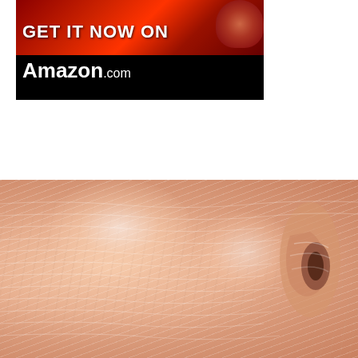[Figure (photo): Advertisement banner with red-tinted background showing a person and text 'GET IT NOW ON Amazon.com' on black background]
[Figure (logo): Around The Web section header bar with dark background and logo icon (green and dark circular logo) to the right]
[Figure (photo): Close-up photo of aged human skin showing wrinkles and texture near an ear]